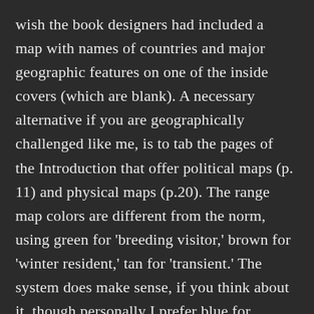wish the book designers had included a map with names of countries and major geographic features on one of the inside covers (which are blank). A necessary alternative if you are geographically challenged like me, is to tab the pages of the Introduction that offer political maps (p. 11) and physical maps (p.20). The range map colors are different from the norm, using green for ‘breeding visitor,’ brown for ‘winter resident,’ tan for ‘transient.’ The system does make sense, if you think about it, though personally I prefer blue for